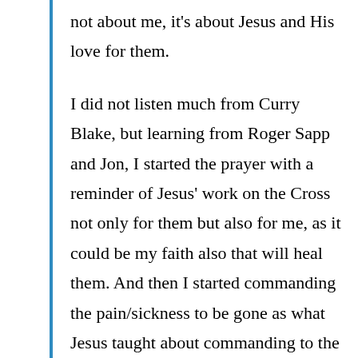not about me, it's about Jesus and His love for them.
I did not listen much from Curry Blake, but learning from Roger Sapp and Jon, I started the prayer with a reminder of Jesus' work on the Cross not only for them but also for me, as it could be my faith also that will heal them. And then I started commanding the pain/sickness to be gone as what Jesus taught about commanding to the mountain. And then I ended with again